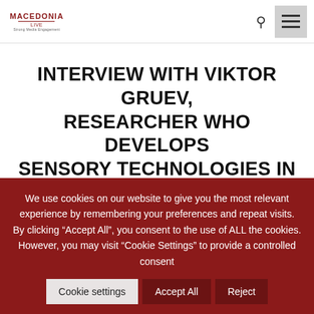MACEDONIA LIVE — navigation header with logo, search icon, and menu button
INTERVIEW WITH VIKTOR GRUEV, RESEARCHER WHO DEVELOPS SENSORY TECHNOLOGIES IN THE MEDICAL FIELD
We use cookies on our website to give you the most relevant experience by remembering your preferences and repeat visits. By clicking "Accept All", you consent to the use of ALL the cookies. However, you may visit "Cookie Settings" to provide a controlled consent
Cookie settings | Accept All | Reject